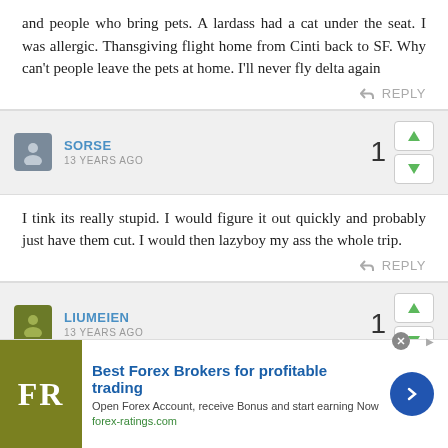and people who bring pets. A lardass had a cat under the seat. I was allergic. Thansgiving flight home from Cinti back to SF. Why can't people leave the pets at home. I'll never fly delta again
REPLY
SORSE
13 YEARS AGO
I tink its really stupid. I would figure it out quickly and probably just have them cut. I would then lazyboy my ass the whole trip.
REPLY
LIUMEIEN
13 YEARS AGO
[Figure (screenshot): Advertisement for Best Forex Brokers with FR logo, title, subtitle and arrow button]